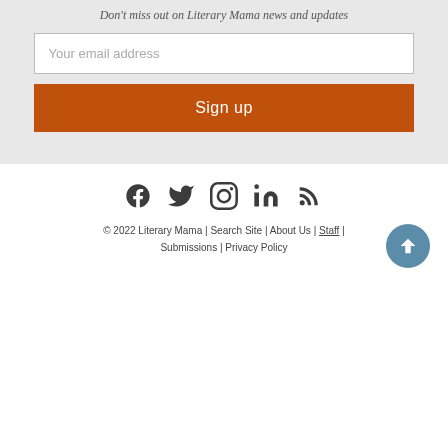Don't miss out on Literary Mama news and updates
Your email address
Sign up
[Figure (infographic): Social media icons: Facebook, Twitter, Instagram, LinkedIn, RSS feed]
© 2022 Literary Mama | Search Site | About Us | Staff | Submissions | Privacy Policy